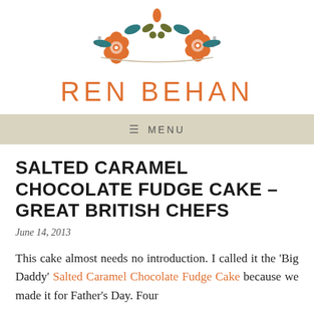[Figure (logo): Ren Behan blog logo with decorative floral illustration (orange flowers, teal leaves, olive green accents) above the text REN BEHAN in large orange letters]
≡ MENU
SALTED CARAMEL CHOCOLATE FUDGE CAKE – GREAT BRITISH CHEFS
June 14, 2013
This cake almost needs no introduction. I called it the 'Big Daddy' Salted Caramel Chocolate Fudge Cake because we made it for Father's Day. Four